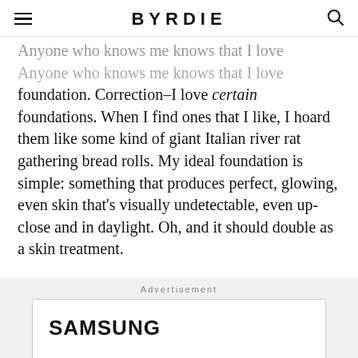BYRDIE
Anyone who knows me knows that I love foundation. Correction–I love certain foundations. When I find ones that I like, I hoard them like some kind of giant Italian river rat gathering bread rolls. My ideal foundation is simple: something that produces perfect, glowing, even skin that's visually undetectable, even up-close and in daylight. Oh, and it should double as a skin treatment.
Advertisement
[Figure (logo): Samsung logo in bold black text inside a white advertisement box]